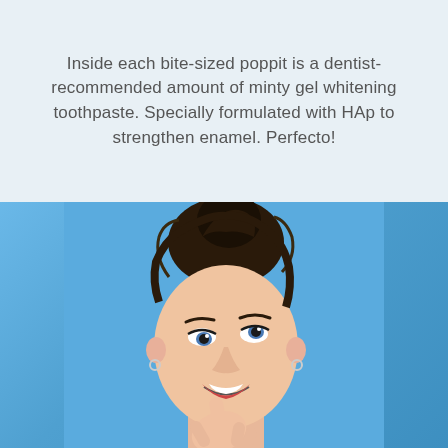Inside each bite-sized poppit is a dentist-recommended amount of minty gel whitening toothpaste. Specially formulated with HAp to strengthen enamel. Perfecto!
[Figure (photo): Young woman with dark hair in a bun against a bright blue background, smiling and placing her finger near her mouth, suggesting she is using or about to use a toothpaste poppit.]